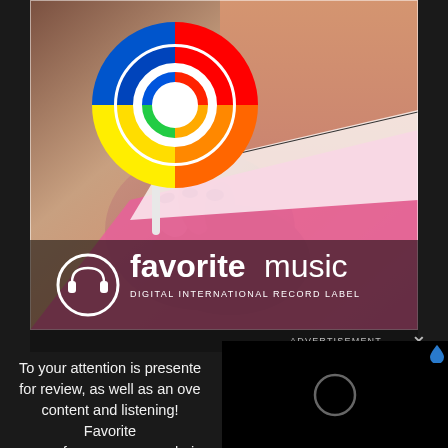[Figure (photo): Advertisement image for Favorite Music Digital International Record Label. Shows a hand holding a colorful swirl lollipop against a skin-toned background with pink fabric. The logo features a headphone circle icon and the text 'favorite music' with the subtitle 'DIGITAL INTERNATIONAL RECORD LABEL'.]
ADVERTISEMENT
To your attention is presented for review, as well as an overview content and listening! Favorite as a reference on your choice Crunchy Masters, Mike Hool...